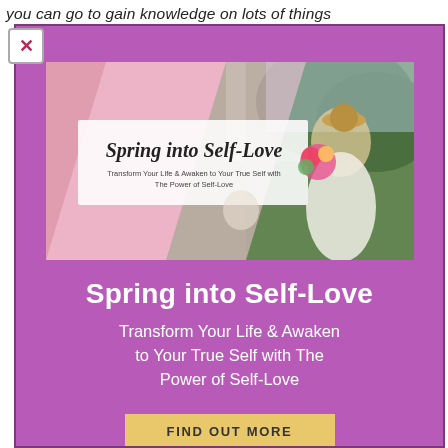you can go to gain knowledge on lots of things
[Figure (illustration): Spring into Self-Love promotional banner image showing a woman in a floral dress holding flowers in a lavender field, with pink overlay and script text reading 'Spring into Self-Love' and subtitle 'Transform Your Life & Awaken to Your True Self with The Power of Self-Love']
Spring into Self-Love
Transform Your Life & Awaken to Your True Self with The Power of Self-Love
FIND OUT MORE